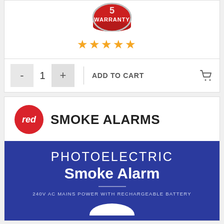[Figure (illustration): Partial view of a red warranty badge/seal at the top, showing 'WARRANTY' text]
[Figure (illustration): Five gold/yellow star rating icons displayed in a row]
- 1 + | ADD TO CART
[Figure (logo): Red Smoke Alarms brand logo: red circle with white italic 'red' text, followed by bold uppercase 'SMOKE ALARMS']
PHOTOELECTRIC
Smoke Alarm
240V AC MAINS POWER WITH RECHARGEABLE BATTERY